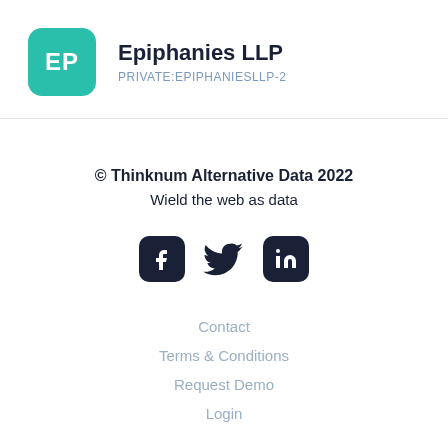[Figure (logo): Teal rounded square logo with white letters EP for Epiphanies LLP]
Epiphanies LLP
PRIVATE:EPIPHANIESLLP-2
© Thinknum Alternative Data 2022
Wield the web as data
[Figure (other): Social media icons: Facebook, Twitter, LinkedIn in dark rounded square buttons]
Contact
Terms & Conditions
Request Demo
Login